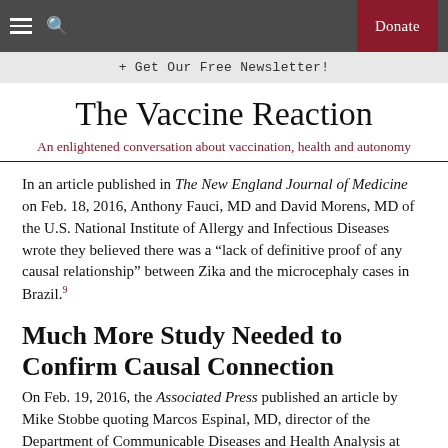The Vaccine Reaction — navigation bar with hamburger menu, search icon, and Donate button
+ Get Our Free Newsletter!
The Vaccine Reaction
An enlightened conversation about vaccination, health and autonomy
In an article published in The New England Journal of Medicine on Feb. 18, 2016, Anthony Fauci, MD and David Morens, MD of the U.S. National Institute of Allergy and Infectious Diseases wrote they believed there was a “lack of definitive proof of any causal relationship” between Zika and the microcephaly cases in Brazil.⁹
Much More Study Needed to Confirm Causal Connection
On Feb. 19, 2016, the Associated Press published an article by Mike Stobbe quoting Marcos Espinal, MD, director of the Department of Communicable Diseases and Health Analysis at